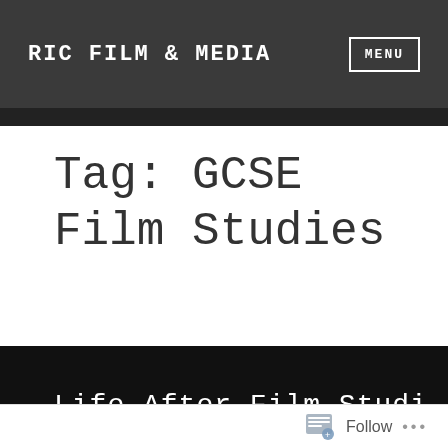RIC FILM & MEDIA  MENU
Tag: GCSE Film Studies
Life After Film Studies (partial, cut off)
Follow ...